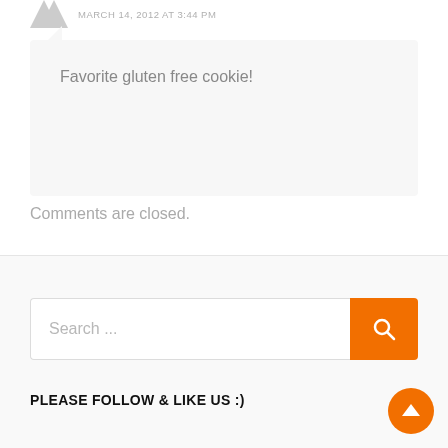MARCH 14, 2012 AT 3:44 PM
Favorite gluten free cookie!
Comments are closed.
Search ...
PLEASE FOLLOW & LIKE US :)